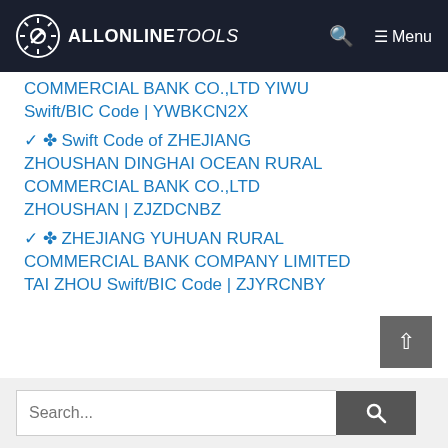ALLONLINETOOLS — Menu
COMMERCIAL BANK CO.,LTD YIWU Swift/BIC Code | YWBKCN2X
✓ ✤ Swift Code of ZHEJIANG ZHOUSHAN DINGHAI OCEAN RURAL COMMERCIAL BANK CO.,LTD ZHOUSHAN | ZJZDCNBZ
✓ ✤ ZHEJIANG YUHUAN RURAL COMMERCIAL BANK COMPANY LIMITED TAI ZHOU Swift/BIC Code | ZJYRCNBY